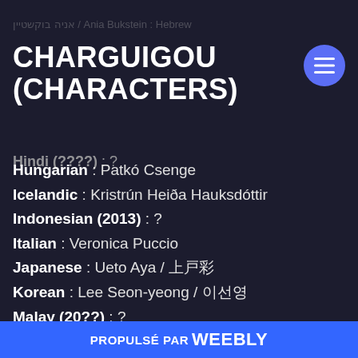CHARGUIGOU (CHARACTERS)
CHARGUIGOU (CHARACTERS)
Hindi (????) : ?
Hungarian : Patkó Csenge
Icelandic : Kristrún Heiða Hauksdóttir
Indonesian (2013) : ?
Italian : Veronica Puccio
Japanese : Ueto Aya / 上戸彩
Korean : Lee Seon-yeong / 이선영
Malay (20??) : ?
Mandarin (Taiwan) : Lín Fāng-Xuě /
[wikipedia]
Norwegian : Siri Nilsen
PROPULSÉ PAR weebly